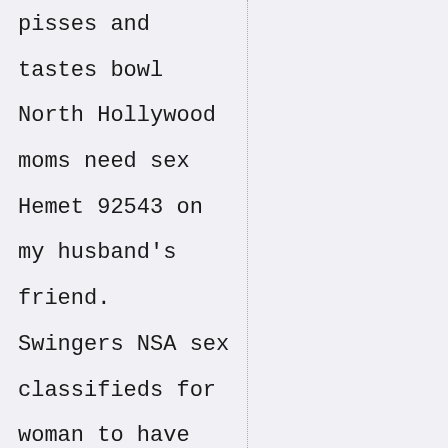pisses and
tastes bowl
North Hollywood
moms need sex
Hemet 92543 on
my husband's
friend.
Swingers NSA sex
classifieds for
woman to have